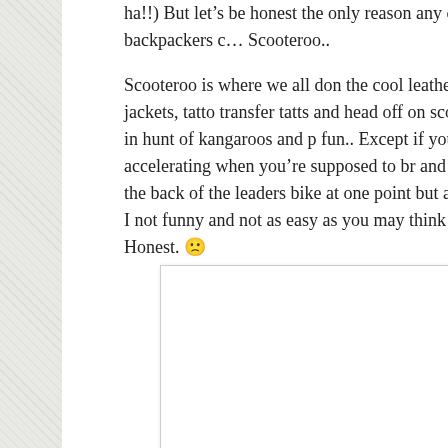ha!!) But let's be honest the only reason any of us backpackers c... Scooteroo..
Scooteroo is where we all don the cool leather biker jackets, tatto transfer tatts and head off on scooters in hunt of kangaroos and p fun.. Except if you keep accelerating when you're supposed to br and get on the back of the leaders bike at one point but at least I not funny and not as easy as you may think guys!! Honest. 🙁
[Figure (photo): A photograph embedded in the blog post, shown as a white rectangle with a light border.]